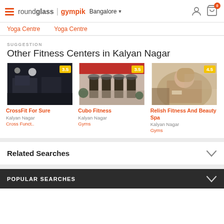roundglass | gympik  Bangalore
Yoga Centre   Yoga Centre
SUGGESTION
Other Fitness Centers in Kalyan Nagar
[Figure (screenshot): Three fitness center cards: CrossFit For Sure (rating 3.5, Kalyan Nagar, Cross Funct..), Cubo Fitness (rating 3.5, Kalyan Nagar, Gyms), Relish Fitness And Beauty Spa (rating 4.5, Kalyan Nagar, Gyms)]
Related Searches
POPULAR SEARCHES